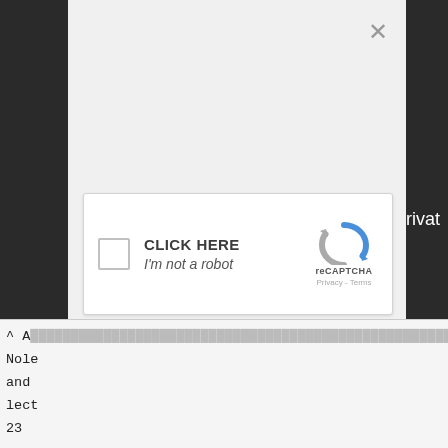[Figure (screenshot): reCAPTCHA dialog widget with checkbox labeled 'CLICK HERE / I'm not a robot' and reCAPTCHA logo with Privacy - Terms links. A close (×) button appears at top right. The widget is shown over a dark overlay modal background.]
^ A
Nole
and
lect
23
rivat
t
y.
.